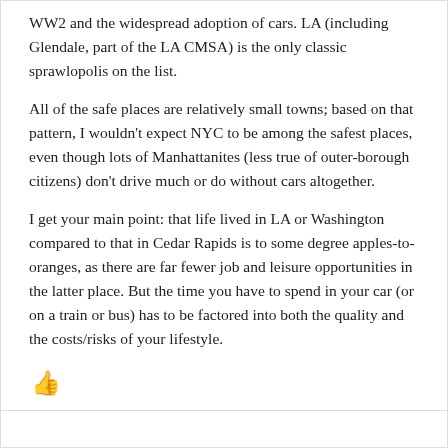WW2 and the widespread adoption of cars. LA (including Glendale, part of the LA CMSA) is the only classic sprawlopolis on the list.
All of the safe places are relatively small towns; based on that pattern, I wouldn't expect NYC to be among the safest places, even though lots of Manhattanites (less true of outer-borough citizens) don't drive much or do without cars altogether.
I get your main point: that life lived in LA or Washington compared to that in Cedar Rapids is to some degree apples-to-oranges, as there are far fewer job and leisure opportunities in the latter place. But the time you have to spend in your car (or on a train or bus) has to be factored into both the quality and the costs/risks of your lifestyle.
[Figure (other): Red thumbs-up icon (like/upvote button)]